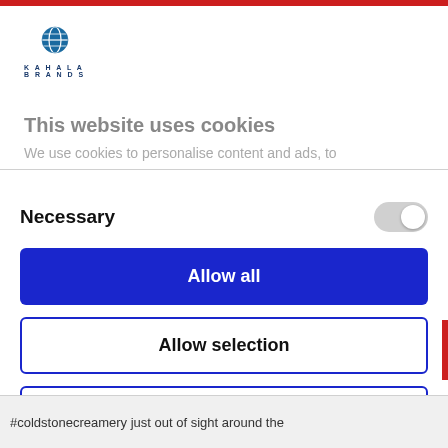[Figure (logo): Kahala Brands logo with blue globe icon and text KAHALA BRANDS]
This website uses cookies
We use cookies to personalise content and ads, to
Necessary
Allow all
Allow selection
Deny
Powered by Cookiebot by Usercentrics
#coldstonecreamery just out of sight around the